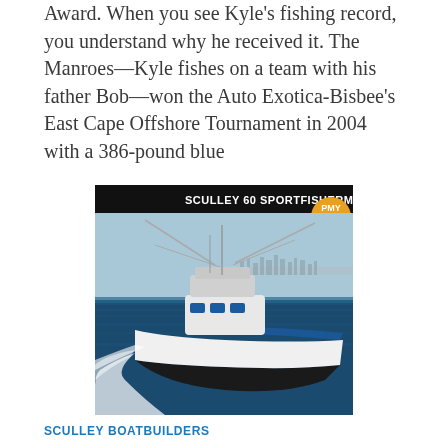Award. When you see Kyle's fishing record, you understand why he received it. The Manroes—Kyle fishes on a team with his father Bob—won the Auto Exotica-Bisbee's East Cape Offshore Tournament in 2004 with a 386-pound blue
[Figure (photo): Sculley 60 Sportfisherman boat speeding across open water with a city skyline in the background. Black header bar with white text reading 'SCULLEY 60 SPORTFISHERMAN' and a PMY award badge in the upper right corner.]
SCULLEY BOATBUILDERS